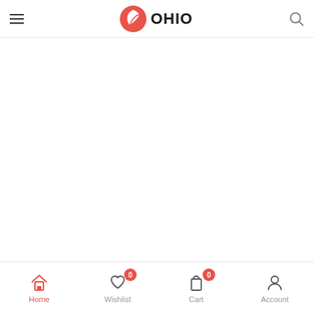OHIO — mobile app header with hamburger menu and search icon
[Figure (logo): OHIO app logo: red circle with white leaf/feather shape, bold text 'OHIO' to the right]
Home | Wishlist (0) | Cart (0) | Account — bottom navigation bar